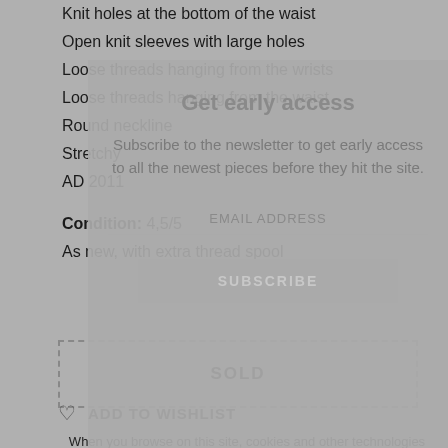Knit holes at the bottom of the waist
Open knit sleeves with large holes
Loose threads hanging from the wrists
Loose threads hanging from the waist
Round neckline
Stretchy
AD 2011
Condition: 4,5/5
As new, with extra thread spool
[Figure (screenshot): Get early access modal overlay with email subscription form. Title: 'Get early access'. Body text: 'Subscribe to the newsletter to get early access to all the newest pieces before they hit the site.' Email address input field. Subscribe button.]
SOLD
ADD TO WISHLIST
When you browse on this site, cookies and other technologies collect data to enhance your experience and personalize the content and advertising you see. Visit our Privacy Policy to learn more, and make choices about the data used by us and our partners on the site. By